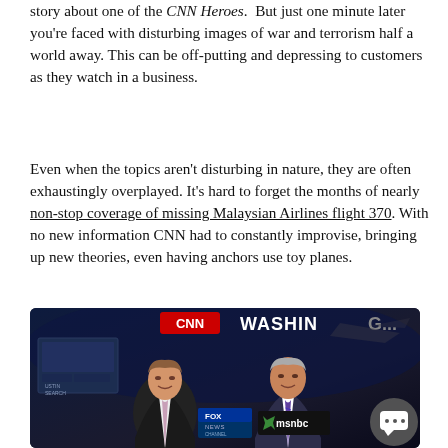story about one of the CNN Heroes. But just one minute later you're faced with disturbing images of war and terrorism half a world away. This can be off-putting and depressing to customers as they watch in a business.
Even when the topics aren't disturbing in nature, they are often exhaustingly overplayed. It's hard to forget the months of nearly non-stop coverage of missing Malaysian Airlines flight 370. With no new information CNN had to constantly improvise, bringing up new theories, even having anchors use toy planes.
[Figure (photo): CNN Washington studio scene with two male news anchors/guests in suits, CNN logo and 'WASHINGTON' text visible in background, along with FOX NEWS and MSNBC logos. Dark studio setting with broadcast graphics. A chat button icon visible in bottom right corner.]